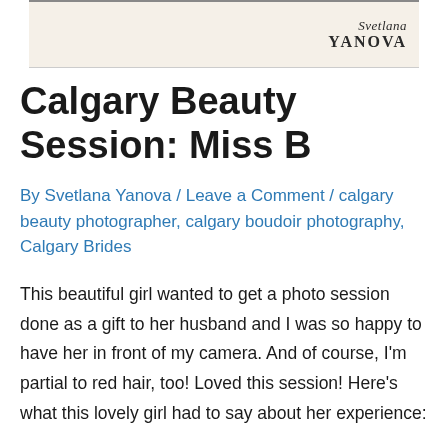[Figure (logo): Svetlana Yanova photographer logo on a beige/cream banner background]
Calgary Beauty Session: Miss B
By Svetlana Yanova / Leave a Comment / calgary beauty photographer, calgary boudoir photography, Calgary Brides
This beautiful girl wanted to get a photo session done as a gift to her husband and I was so happy to have her in front of my camera. And of course, I'm partial to red hair, too! Loved this session! Here's what this lovely girl had to say about her experience:
-Why did you decide to book your beauty session? I've always wanted to do one, just to have photos that I